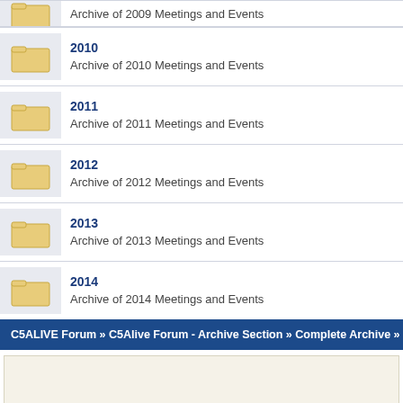Archive of 2009 Meetings and Events
2010 — Archive of 2010 Meetings and Events
2011 — Archive of 2011 Meetings and Events
2012 — Archive of 2012 Meetings and Events
2013 — Archive of 2013 Meetings and Events
2014 — Archive of 2014 Meetings and Events
C5ALIVE Forum » C5Alive Forum - Archive Section » Complete Archive »
SMF 2.0.14 | SM
5th de
XHT